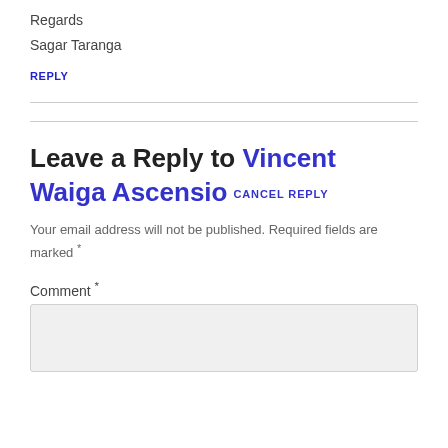Regards
Sagar Taranga
REPLY
Leave a Reply to Vincent Waiga Ascensio   CANCEL REPLY
Your email address will not be published. Required fields are marked *
Comment *